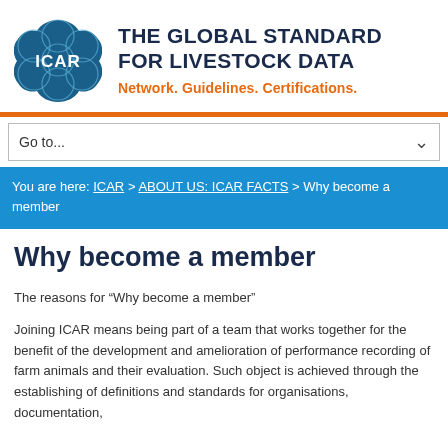[Figure (logo): ICAR logo - circular blue geometric design with ICAR text in white center]
THE GLOBAL STANDARD FOR LIVESTOCK DATA
Network. Guidelines. Certifications.
Go to...
You are here: ICAR > ABOUT US: ICAR FACTS > Why become a member
Why become a member
The reasons for “Why become a member”
Joining ICAR means being part of a team that works together for the benefit of the development and amelioration of performance recording of farm animals and their evaluation. Such object is achieved through the establishing of definitions and standards for organisations, documentation,